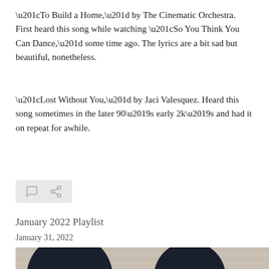“To Build a Home,” by The Cinematic Orchestra. First heard this song while watching “So You Think You Can Dance,” some time ago. The lyrics are a bit sad but beautiful, nonetheless.
“Lost Without You,” by Jaci Valesquez. Heard this song sometimes in the later 90’s early 2k’s and had it on repeat for awhile.
[Figure (other): Icon bar with comment and share/link icons on a light grey rounded rectangle background]
January 2022 Playlist
January 31, 2022
[Figure (photo): Bottom portion of a blog post image showing vinyl records on a weathered wood background, partially cropped]